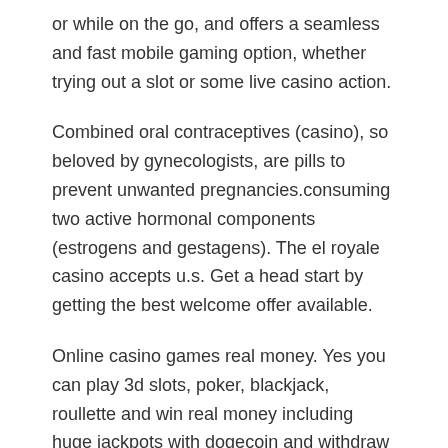or while on the go, and offers a seamless and fast mobile gaming option, whether trying out a slot or some live casino action.
Combined oral contraceptives (casino), so beloved by gynecologists, are pills to prevent unwanted pregnancies.consuming two active hormonal components (estrogens and gestagens). The el royale casino accepts u.s. Get a head start by getting the best welcome offer available.
Online casino games real money. Yes you can play 3d slots, poker, blackjack, roullette and win real money including huge jackpots with dogecoin and withdraw winnings instantly in cryptocurrency or fiat playing at the top online bitcoin & cryptocurrency casinos. Offer valid for 1 week.
Play slots for free or play online slots for real money, card games, table games, poker & many more casino games for real money at these #1 rated. Online casinos can't be advertised to australians,